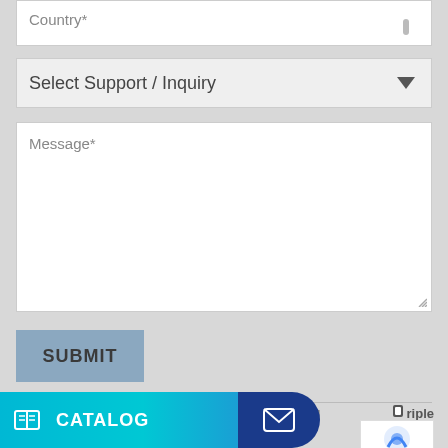Country*
Select Support / Inquiry
Message*
SUBMIT
© 2022 Barantec. All rights reserved
CATALOG